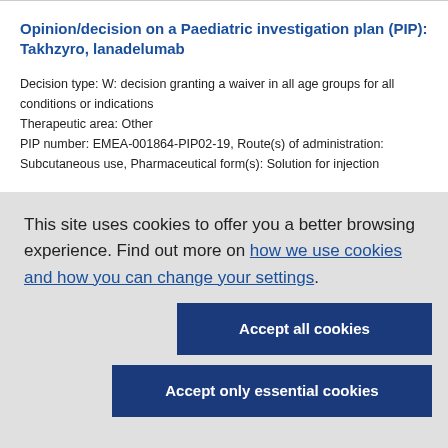Opinion/decision on a Paediatric investigation plan (PIP): Takhzyro, lanadelumab
Decision type: W: decision granting a waiver in all age groups for all conditions or indications
Therapeutic area: Other
PIP number: EMEA-001864-PIP02-19, Route(s) of administration: Subcutaneous use, Pharmaceutical form(s): Solution for injection
This site uses cookies to offer you a better browsing experience. Find out more on how we use cookies and how you can change your settings.
Accept all cookies
Accept only essential cookies